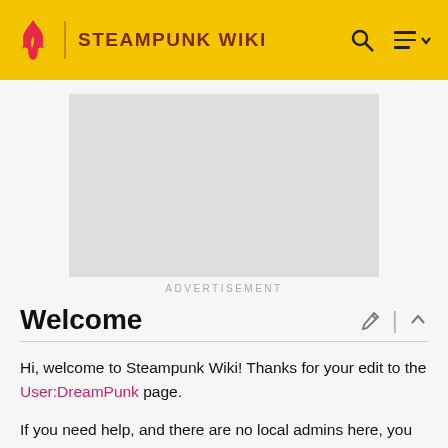STEAMPUNK WIKI
[Figure (other): Advertisement placeholder (gray rectangle)]
ADVERTISEMENT
Welcome
Hi, welcome to Steampunk Wiki! Thanks for your edit to the User:DreamPunk page.
If you need help, and there are no local admins here, you may want to visit the forums on the Community Central Wiki. You can also check our Staff blog to keep up-to-date